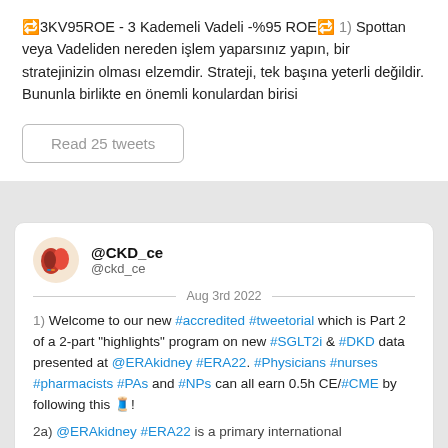🔁3KV95ROE - 3 Kademeli Vadeli -%95 ROE🔁 1) Spottan veya Vadeliden nereden işlem yaparsınız yapın, bir stratejinizin olması elzemdir. Strateji, tek başına yeterli değildir. Bununla birlikte en önemli konulardan birisi
Read 25 tweets
@CKD_ce @ckd_ce Aug 3rd 2022
1) Welcome to our new #accredited #tweetorial which is Part 2 of a 2-part "highlights" program on new #SGLT2i & #DKD data presented at @ERAkidney #ERA22. #Physicians #nurses #pharmacists #PAs and #NPs can all earn 0.5h CE/#CME by following this 🧵!
2a) @ERAkidney #ERA22 is a primary international